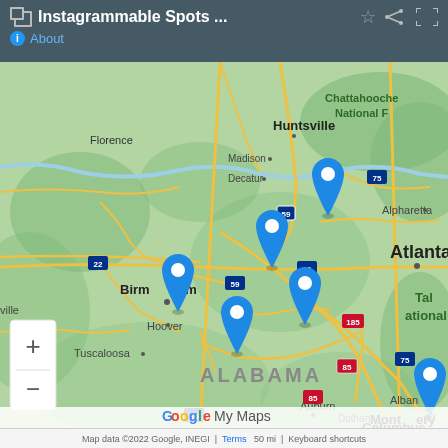Instagrammable Spots ... About
[Figure (map): Google My Maps screenshot showing Alabama and surrounding region with blue location pin markers near Huntsville, Birmingham, Hoover, Talladega National Forest, Montgomery, and other locations. Map shows cities including Florence, Huntsville, Madison, Decatur, Birmingham, Tuscaloosa, Hoover, Montgomery, Auburn, Columbus, Atlanta, Alpharetta, Albany, and Dothan. Features Talladega National Forest and Chattahoochee National Forest. Interstate highways 20, 22, 59, 65, 75, 85, 185 are labeled.]
Map data ©2022 Google, INEGI   Terms   50 mi   Keyboard shortcuts